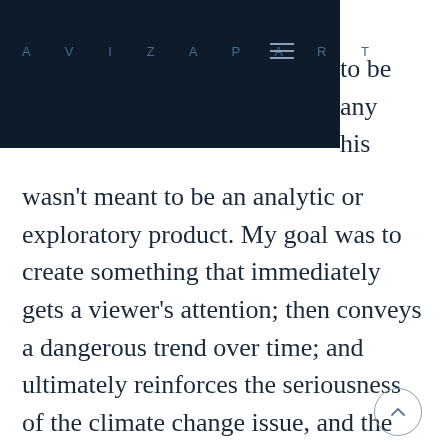AVIZAPART
to be any his wasn't meant to be an analytic or exploratory product. My goal was to create something that immediately gets a viewer's attention; then conveys a dangerous trend over time; and ultimately reinforces the seriousness of the climate change issue, and the intensity of the peril in which we all find ourselves.
I did make some compromises along the way: there are more words than I originally thought I'd have; I used a smaller (monthly-aggregated) subset of the data than I wanted to; I tested